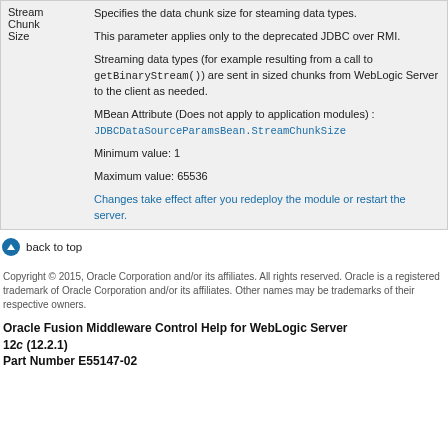| Parameter | Description |
| --- | --- |
| Stream Chunk Size | Specifies the data chunk size for steaming data types.

This parameter applies only to the deprecated JDBC over RMI.

Streaming data types (for example resulting from a call to getBinaryStream()) are sent in sized chunks from WebLogic Server to the client as needed.

MBean Attribute (Does not apply to application modules) :
JDBCDataSourceParamsBean.StreamChunkSize

Minimum value: 1

Maximum value: 65536

Changes take effect after you redeploy the module or restart the server. |
back to top
Copyright © 2015, Oracle Corporation and/or its affiliates. All rights reserved. Oracle is a registered trademark of Oracle Corporation and/or its affiliates. Other names may be trademarks of their respective owners.
Oracle Fusion Middleware Control Help for WebLogic Server 12c (12.2.1) Part Number E55147-02